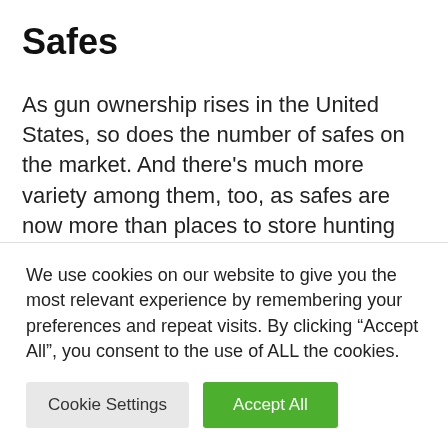Safes
As gun ownership rises in the United States, so does the number of safes on the market. And there’s much more variety among them, too, as safes are now more than places to store hunting guns. We looked at several different kinds of safes from many makers. We evaluated them for the level of protection they offered against theft, which involved
We use cookies on our website to give you the most relevant experience by remembering your preferences and repeat visits. By clicking “Accept All”, you consent to the use of ALL the cookies.
Cookie Settings | Accept All